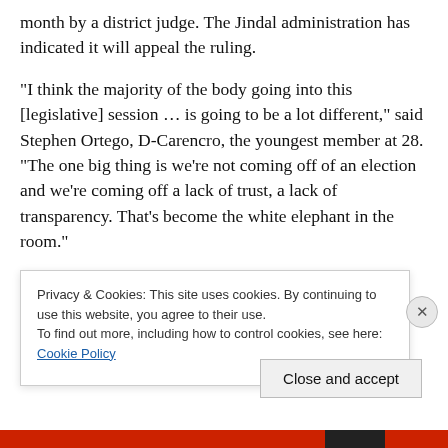month by a district judge. The Jindal administration has indicated it will appeal the ruling.
“I think the majority of the body going into this [legislative] session … is going to be a lot different,” said Stephen Ortego, D-Carencro, the youngest member at 28. “The one big thing is we’re not coming off of an election and we’re coming off a lack of trust, a lack of transparency. That’s become the white elephant in the room.”
Rep. John Bel Edwards echoed this sentiment, adding, “the problem is the vast majority of people in the
Privacy & Cookies: This site uses cookies. By continuing to use this website, you agree to their use. To find out more, including how to control cookies, see here: Cookie Policy
Close and accept